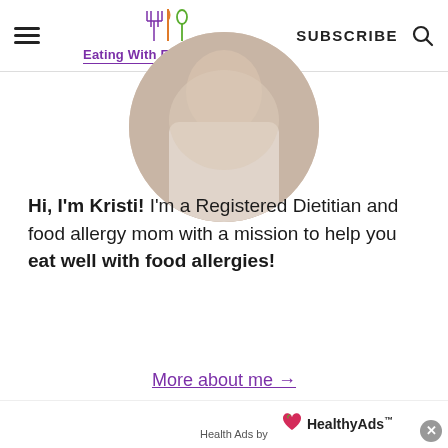Eating With Food Allergies — SUBSCRIBE
[Figure (photo): Circular cropped photo of a person, partially visible at top of page]
Hi, I'm Kristi! I'm a Registered Dietitian and food allergy mom with a mission to help you eat well with food allergies!
More about me →
Health Ads by HealthyAds™